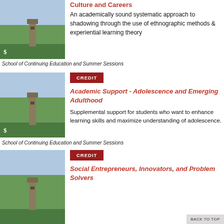[Figure (photo): Campus photo with green trees and building, dollar sign overlay]
An academically sound systematic approach to shadowing through the use of ethnographic methods & experiential learning theory
School of Continuing Education and Summer Sessions
[Figure (photo): Cornell campus photo with clock tower and trees, dollar sign overlay]
CREDIT
Academic Support - Adolescence and Emerging Adulthood
Supplemental support for students who want to enhance learning skills and maximize understanding of adolescence.
School of Continuing Education and Summer Sessions
[Figure (photo): Cornell campus photo with clock tower and trees]
CREDIT
Social Entrepreneurs, Innovators, and Problem Solvers